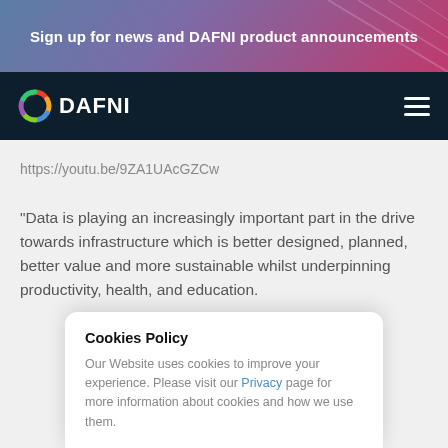Sign up for news and DAFNI product announcements
[Figure (logo): DAFNI logo with circular multi-color icon and white text DAFNI on dark navy navigation bar]
https://youtu.be/9ZA1UAcGZCw
"Data is playing an increasingly important part in the drive towards infrastructure which is better designed, planned, better value and more sustainable whilst underpinning productivity, health, and education.
Cookies Policy
Our Website uses cookies to improve your experience. Please visit our Privacy page for more information about cookies and how we use them.